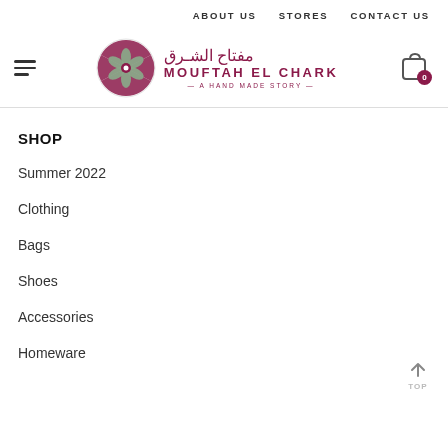ABOUT US   STORES   CONTACT US
[Figure (logo): Mouftah El Chark logo — circular floral pattern in green and maroon, with Arabic text and brand name 'MOUFTAH EL CHARK — A HAND MADE STORY —']
SHOP
Summer 2022
Clothing
Bags
Shoes
Accessories
Homeware